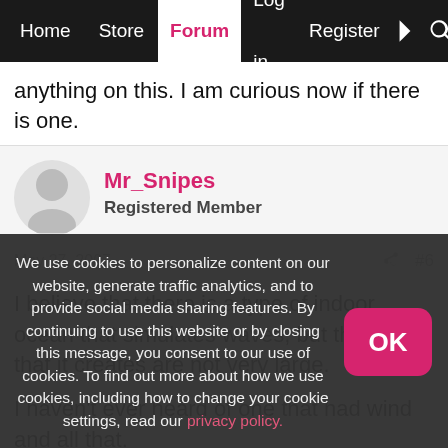Home | Store | Forum | Log in | Register
anything on this. I am curious now if there is one.
Mr_Snipes
Registered Member
May 27, 2007  #6
I believe that there is a type of indoor ocean that simulates waves, but the waves that it creates are not very large.

I haven't ever heard of one that had wind and all that.
We use cookies to personalize content on our website, generate traffic analytics, and to provide social media sharing features. By continuing to use this website or by closing this message, you consent to our use of cookies. To find out more about how we use cookies, including how to change your cookie settings, read our privacy policy.